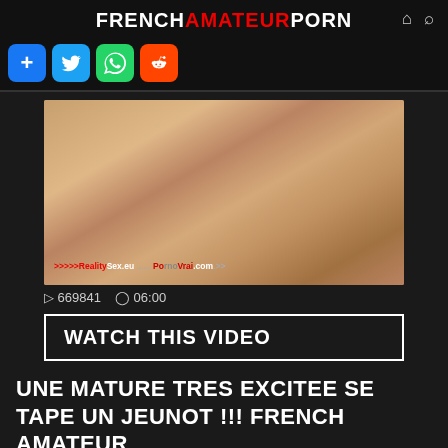FRENCHAMATEURPORN
[Figure (screenshot): Video thumbnail showing two people, with watermark text '>>>>>RealitySex.eu' and '...PornoVrai.com...']
▷ 669841  ⊙ 06:00
WATCH THIS VIDEO
UNE MATURE TRES EXCITEE SE TAPE UN JEUNOT !!! FRENCH AMATEUR
PORNOVRAI
FRENCH
AMATEUR
MATURE